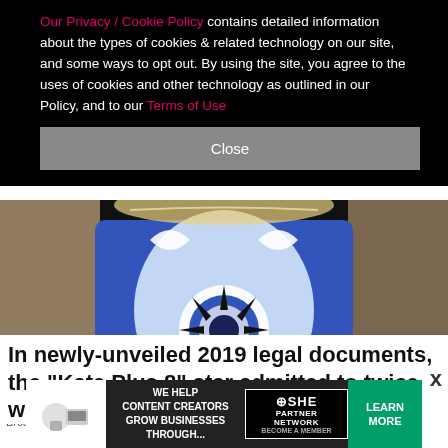Our Privacy / Cookie Policy contains detailed information about the types of cookies & related technology on our site, and some ways to opt out. By using the site, you agree to the uses of cookies and other technology as outlined in our Policy, and to our Terms of Use
[Figure (photo): Close-up photo of a person wearing a blue and white patterned dress with ornate mandala-style print. Person has blonde hair, dark background.]
Broadimage/Shutterstock
In newly-unveiled 2019 legal documents, the "Kate Plus 8" star admitted to twice withdrawing $50,000 from th
[Figure (other): Advertisement banner: SHE Media Partner Network. Text reads 'WE HELP CONTENT CREATORS GROW BUSINESSES THROUGH...' with LEARN MORE button]